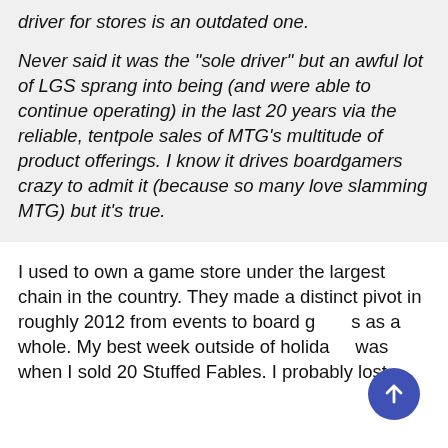driver for stores is an outdated one.
Never said it was the "sole driver" but an awful lot of LGS sprang into being (and were able to continue operating) in the last 20 years via the reliable, tentpole sales of MTG's multitude of product offerings. I know it drives boardgamers crazy to admit it (because so many love slamming MTG) but it's true.
I used to own a game store under the largest chain in the country. They made a distinct pivot in roughly 2012 from events to board games as a whole. My best week outside of holidays was when I sold 20 Stuffed Fables. I probably lost